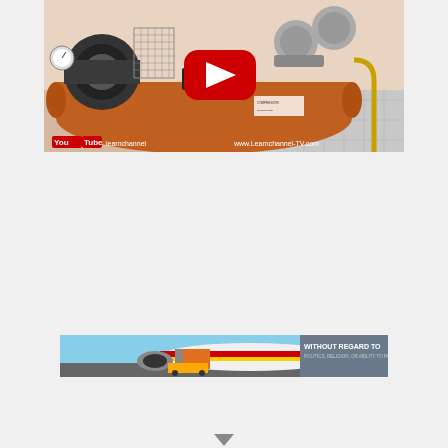[Figure (screenshot): YouTube video thumbnail showing an industrial air compressor with orange tank, motor, pump heads, ON/OFF switch panel, and pressure gauges. YouTube logo and 'learnchannel' branding visible. URL www.Learnchannel-TV.com shown. Red YouTube play button overlay in center.]
[Figure (photo): Banner advertisement showing cargo being loaded onto a Southwest Airlines aircraft on the tarmac. Right side has gray panel with text 'WITHOUT REGARD TO POLITICS, RELIGION, OR ABILITY TO PAY'.]